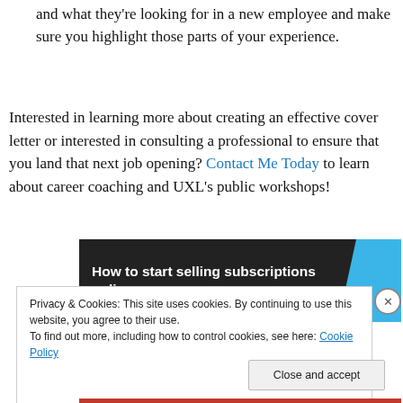and what they're looking for in a new employee and make sure you highlight those parts of your experience.
Interested in learning more about creating an effective cover letter or interested in consulting a professional to ensure that you land that next job opening? Contact Me Today to learn about career coaching and UXL's public workshops!
[Figure (other): Advertisement banner: 'How to start selling subscriptions online' with blue geometric shape on dark background]
Privacy & Cookies: This site uses cookies. By continuing to use this website, you agree to their use.
To find out more, including how to control cookies, see here: Cookie Policy
Close and accept